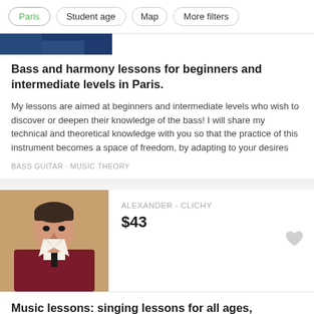Paris | Student age | Map | More filters
[Figure (photo): Partial photo strip at top of first listing card]
Bass and harmony lessons for beginners and intermediate levels in Paris.
My lessons are aimed at beginners and intermediate levels who wish to discover or deepen their knowledge of the bass! I will share my technical and theoretical knowledge with you so that the practice of this instrument becomes a space of freedom, by adapting to your desires
BASS GUITAR · MUSIC THEORY
[Figure (photo): Profile photo of Alexander, a young man in a dark red suit with a black tie]
ALEXANDER - CLICHY
$43
Music lessons: singing lessons for all ages, including theory
Good morning ! My name is Alexander, I am twenty-five years old, and I have a master's degree from the University of California, Los Angeles (UCLA) in music. I have teaching experience, working with students of all ages. I am optimistic, energetic, and passionate about giving students
VOICE (MUSIC) · CHILDREN'S MUSIC · MUSIC THEORY